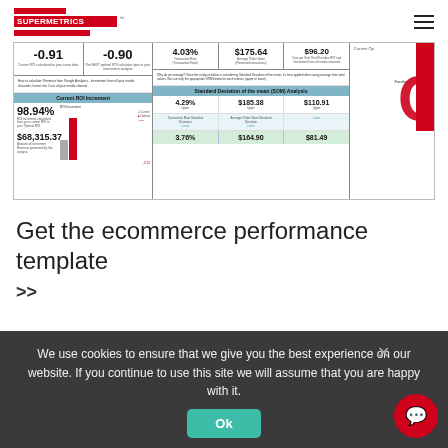Supermetrics logo and navigation
[Figure (screenshot): Screenshot of Supermetrics ecommerce performance dashboard showing ROI metrics: -0.91, -0.90, 4.03%, $175.64, $96.20, Current ROI Increment 98.94%, $68,315.37, Standard Deviation of the mean (SOM) Analysis: 4.29%, $185.38, $110.91 (Upper), 3.76%, $164.90, $81.49 (Lower), Facebook channel shown on right]
Get the ecommerce performance template
>>
We use cookies to ensure that we give you the best experience on our website. If you continue to use this site we will assume that you are happy with it.